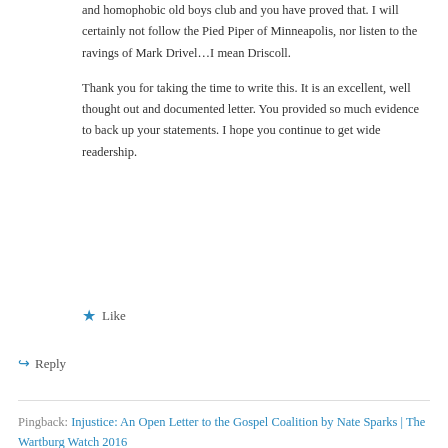and homophobic old boys club and you have proved that. I will certainly not follow the Pied Piper of Minneapolis, nor listen to the ravings of Mark Drivel…I mean Driscoll.

Thank you for taking the time to write this. It is an excellent, well thought out and documented letter. You provided so much evidence to back up your statements. I hope you continue to get wide readership.
Like
Reply
Pingback: Injustice: An Open Letter to the Gospel Coalition by Nate Sparks | The Wartburg Watch 2016